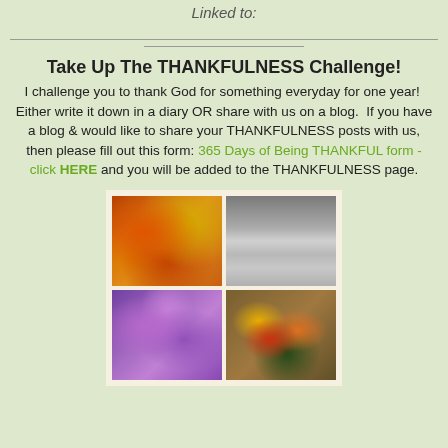Linked to:
Take Up The THANKFULNESS Challenge! I challenge you to thank God for something everyday for one year!  Either write it down in a diary OR share with us on a blog.  If you have a blog & would like to share your THANKFULNESS posts with us, then please fill out this form: 365 Days of Being THANKFUL form - click HERE and you will be added to the THANKFULNESS page.
[Figure (photo): A 2x2 collage of four nature photos: autumn orange/yellow leaves, a snowy winter scene, purple flowers, and a basket of colorful vegetables.]